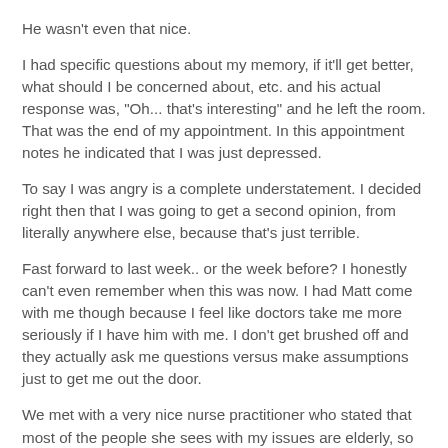He wasn't even that nice.
I had specific questions about my memory, if it'll get better, what should I be concerned about, etc. and his actual response was, "Oh... that's interesting" and he left the room. That was the end of my appointment. In this appointment notes he indicated that I was just depressed.
To say I was angry is a complete understatement. I decided right then that I was going to get a second opinion, from literally anywhere else, because that's just terrible.
Fast forward to last week.. or the week before? I honestly can't even remember when this was now. I had Matt come with me though because I feel like doctors take me more seriously if I have him with me. I don't get brushed off and they actually ask me questions versus make assumptions just to get me out the door.
We met with a very nice nurse practitioner who stated that most of the people she sees with my issues are elderly, so quite frankly, I'm kind of an anomaly, and she is a little out of her depth there. The point of the appointment was to get the...